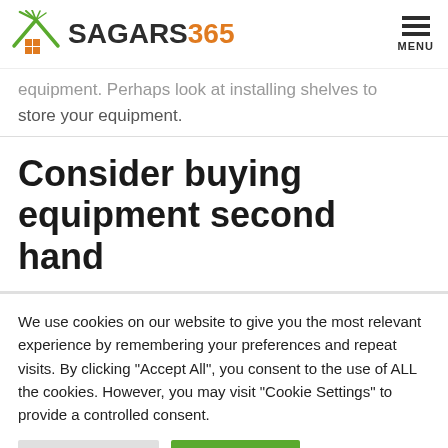SAGARS 365 — MENU
equipment. Perhaps look at installing shelves to store your equipment.
Consider buying equipment second hand
We use cookies on our website to give you the most relevant experience by remembering your preferences and repeat visits. By clicking "Accept All", you consent to the use of ALL the cookies. However, you may visit "Cookie Settings" to provide a controlled consent.